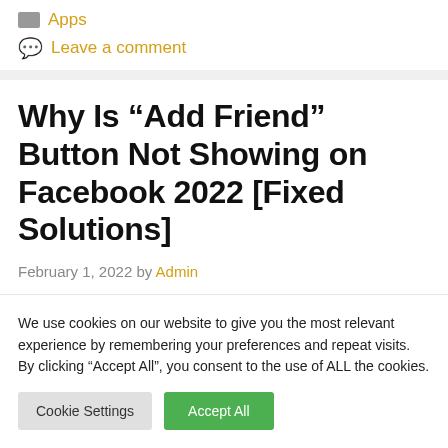Apps
Leave a comment
Why Is “Add Friend” Button Not Showing on Facebook 2022 [Fixed Solutions]
February 1, 2022 by Admin
We use cookies on our website to give you the most relevant experience by remembering your preferences and repeat visits. By clicking “Accept All”, you consent to the use of ALL the cookies.